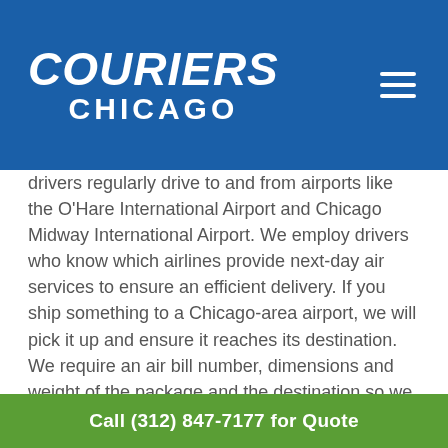[Figure (logo): Couriers Chicago logo — white bold italic text on blue background header with hamburger menu icon]
drivers regularly drive to and from airports like the O'Hare International Airport and Chicago Midway International Airport. We employ drivers who know which airlines provide next-day air services to ensure an efficient delivery. If you ship something to a Chicago-area airport, we will pick it up and ensure it reaches its destination. We require an air bill number, dimensions and weight of the package and the destination so we can properly deliver your materials.
Whatever type of delivery you need made Chicago Couriers is there to help. We operate 4/7 and have hundreds of customer reviews. We
Call (312) 847-7177 for Quote